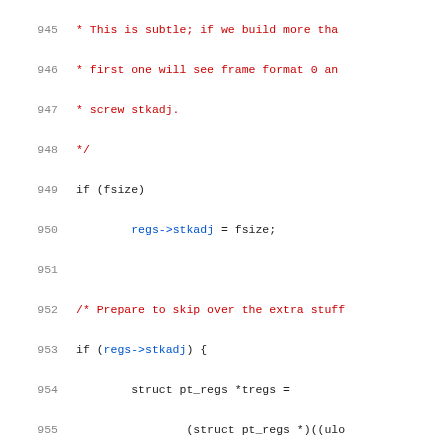[Figure (screenshot): Source code snippet (C language) showing lines 945–965 with syntax highlighting. Line numbers in gray on the left, comments in red, strings in green, struct member accesses in blue, numeric literals in orange, keywords in dark/black.]